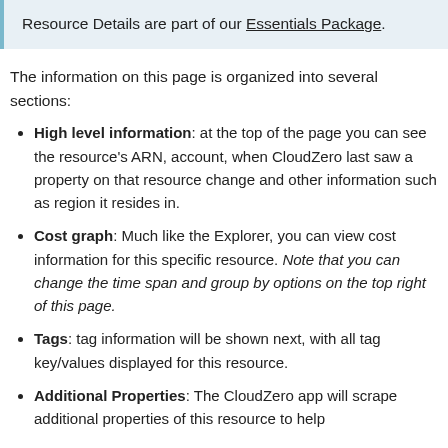Resource Details are part of our Essentials Package.
The information on this page is organized into several sections:
High level information: at the top of the page you can see the resource's ARN, account, when CloudZero last saw a property on that resource change and other information such as region it resides in.
Cost graph: Much like the Explorer, you can view cost information for this specific resource. Note that you can change the time span and group by options on the top right of this page.
Tags: tag information will be shown next, with all tag key/values displayed for this resource.
Additional Properties: The CloudZero app will scrape additional properties of this resource to help